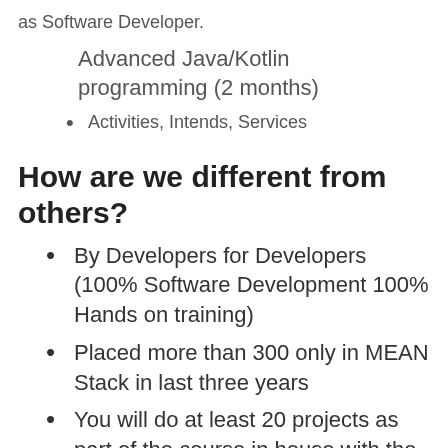as Software Developer.
Advanced Java/Kotlin programming (2 months)
Activities, Intends, Services
How are we different from others?
By Developers for Developers (100% Software Development 100% Hands on training)
Placed more than 300 only in MEAN Stack in last three years
You will do at least 20 projects as part of the course in house with the trainer
Experienced Faculties, More than